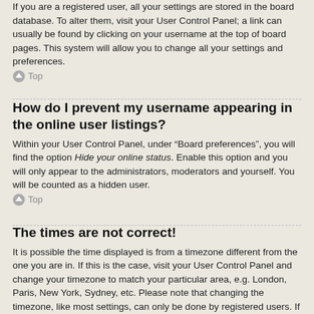If you are a registered user, all your settings are stored in the board database. To alter them, visit your User Control Panel; a link can usually be found by clicking on your username at the top of board pages. This system will allow you to change all your settings and preferences.
Top
How do I prevent my username appearing in the online user listings?
Within your User Control Panel, under “Board preferences”, you will find the option Hide your online status. Enable this option and you will only appear to the administrators, moderators and yourself. You will be counted as a hidden user.
Top
The times are not correct!
It is possible the time displayed is from a timezone different from the one you are in. If this is the case, visit your User Control Panel and change your timezone to match your particular area, e.g. London, Paris, New York, Sydney, etc. Please note that changing the timezone, like most settings, can only be done by registered users. If you are not registered, this is a good time to do so.